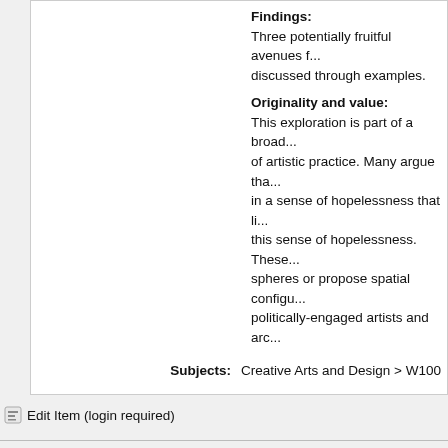Findings:
Three potentially fruitful avenues f... discussed through examples.
Originality and value:
This exploration is part of a broad... of artistic practice. Many argue tha... in a sense of hopelessness that li... this sense of hopelessness. These... spheres or propose spatial configu... politically-engaged artists and arc...
| Field | Value |
| --- | --- |
| Subjects: | Creative Arts and Design > W100 |
| School or Centre: | School of Arts & Humanities |
| Identification Number or DOI: | https://doi.org/10.1108/ARCH-05-... |
| Date Deposited: | 21 Jan 2020 10:28 |
| Last Modified: | 21 Jan 2020 10:28 |
| URI: | https://researchonline.rca.ac.uk/id... |
Edit Item (login required)